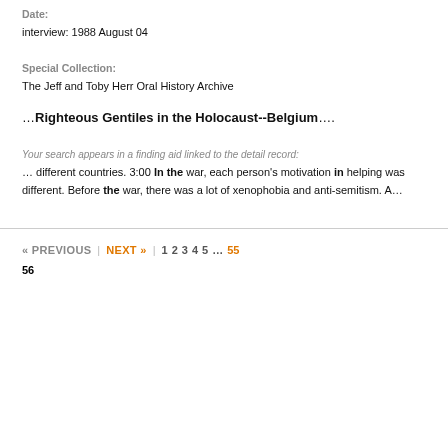Date:
interview: 1988 August 04
Special Collection:
The Jeff and Toby Herr Oral History Archive
…Righteous Gentiles in the Holocaust--Belgium….
Your search appears in a finding aid linked to the detail record:
… different countries. 3:00 In the war, each person's motivation in helping was different. Before the war, there was a lot of xenophobia and anti-semitism. A…
« PREVIOUS  NEXT »  1  2  3  4  5  …  55  56